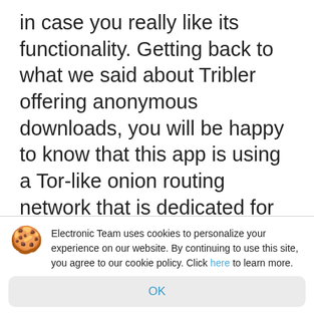in case you really like its functionality. Getting back to what we said about Tribler offering anonymous downloads, you will be happy to know that this app is using a Tor-like onion routing network that is dedicated for torrent downloading. Using the Tor wire protocol and avoiding any central server, Tribler enables you to download any files in complete safety.
Electronic Team uses cookies to personalize your experience on our website. By continuing to use this site, you agree to our cookie policy. Click here to learn more.
OK